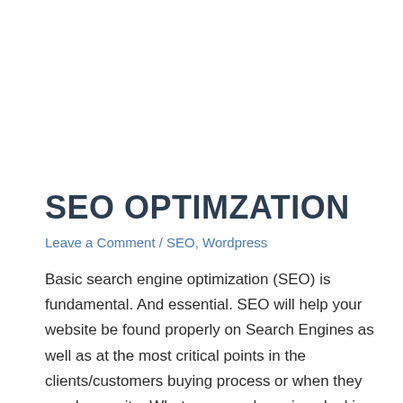SEO OPTIMZATION
Leave a Comment / SEO, Wordpress
Basic search engine optimization (SEO) is fundamental. And essential. SEO will help your website be found properly on Search Engines as well as at the most critical points in the clients/customers buying process or when they need your site. What are search engines looking for? How can you build your website in a way that ...